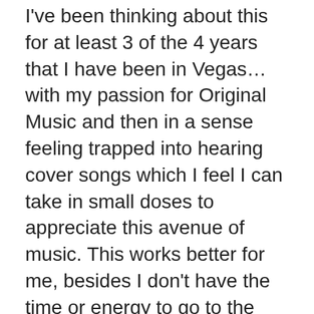I've been thinking about this for at least 3 of the 4 years that I have been in Vegas…with my passion for Original Music and then in a sense feeling trapped into hearing cover songs which I feel I can take in small doses to appreciate this avenue of music. This works better for me, besides I don't have the time or energy to go to the same show over and over unless it's a project I am involved in or it's a show that calls my names to attend. I want to find something that screams my name and said yes, Lady Flava you need to experience This right here. I need something different, that surprises me and catches me off guard that I need to stop and breathe in the moment of uniqueness and authenticity.
So, what do you need to feel like you are living your best life as an artist and or entertainer? Do you have plans on how to grow your audience or changes that you want to